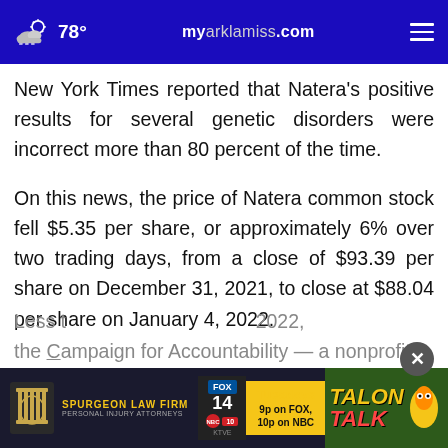78° myarklamiss.com
New York Times reported that Natera's positive results for several genetic disorders were incorrect more than 80 percent of the time.
On this news, the price of Natera common stock fell $5.35 per share, or approximately 6% over two trading days, from a close of $93.39 per share on December 31, 2021, to close at $88.04 per share on January 4, 2022.
Less t... 2022, the Campaign for Accountability — a nonprofit